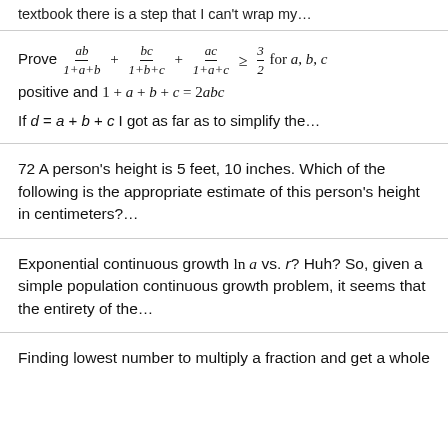textbook there is a step that I can't wrap my…
If d = a + b + c I got as far as to simplify the…
72 A person's height is 5 feet, 10 inches. Which of the following is the appropriate estimate of this person's height in centimeters?…
Exponential continuous growth ln a vs. r? Huh? So, given a simple population continuous growth problem, it seems that the entirety of the…
Finding lowest number to multiply a fraction and get a whole